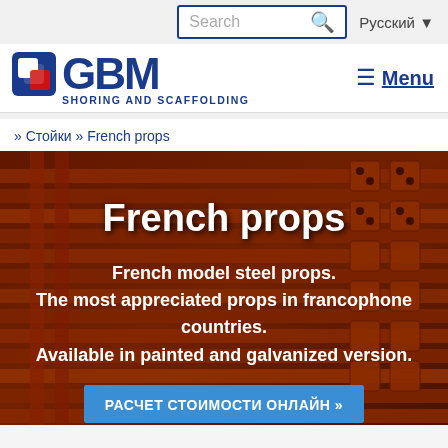Search | Русский
[Figure (logo): GBM Shoring and Scaffolding company logo with blue square icon and blue bold GBM text]
» Стойки » French props
[Figure (photo): Stacked red painted French model steel props/scaffolding tubes with perforated flanges, stored horizontally in a warehouse setting]
French props
French model steel props. The most appreciated props in francophone countries. Available in painted and galvanized version.
РАСЧЕТ СТОИМОСТИ ОНЛАЙН »